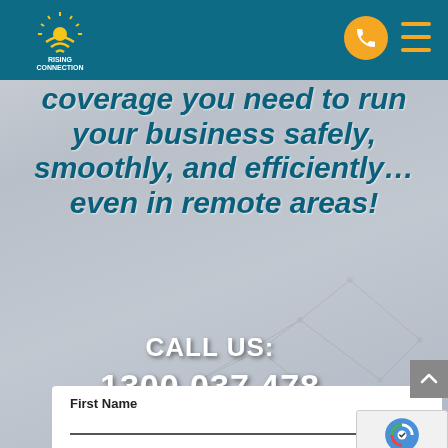[Figure (logo): Rising Connection logo — sun with wifi arcs over teal shield, text RISING CONNECTION]
[Figure (screenshot): Orange circular phone call button in header]
[Figure (screenshot): Orange hamburger menu icon in header]
coverage you need to run your business safely, smoothly, and efficiently... even in remote areas!
CALL US:
1300 037 478
[Figure (screenshot): Grey scroll-to-top arrow button]
First Name
[Figure (screenshot): reCAPTCHA badge with Privacy - Terms text]